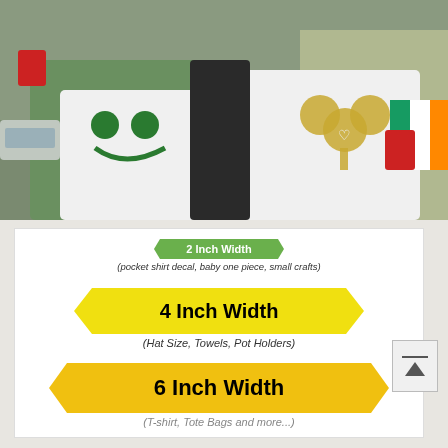[Figure (photo): Two people wearing St. Patrick's Day t-shirts outdoors. The person on the left wears a white shirt with a green shamrock smiley face and carries a red cup, wearing a green jacket. The person on the right wears a white shirt with a gold/glitter shamrock. An Irish flag is visible in the background.]
[Figure (infographic): Size guide showing three arrow-shaped banners indicating decal widths: '2 Inch Width (pocket shirt decal, baby one piece, small crafts)' in green, '4 Inch Width (Hat Size, Towels, Pot Holders)' in yellow, '6 Inch Width' in gold/dark yellow (partially visible).]